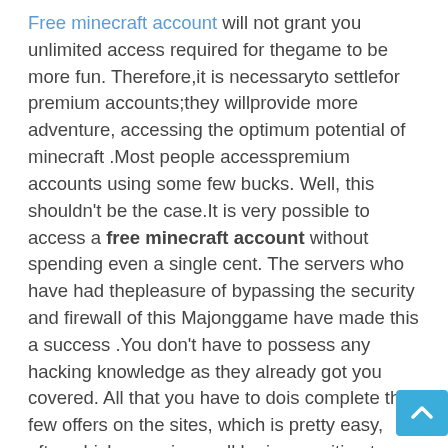Free minecraft account will not grant you unlimited access required for thegame to be more fun. Therefore,it is necessaryto settlefor premium accounts;they willprovide more adventure, accessing the optimum potential of minecraft .Most people accesspremium accounts using some few bucks. Well, this shouldn't be the case.It is very possible to access a free minecraft account without spending even a single cent. The servers who have had thepleasure of bypassing the security and firewall of this Majonggame have made this a success .You don't have to possess any hacking knowledge as they already got you covered. All that you have to dois complete the few offers on the sites, which is pretty easy, after which you will be in a position to access a free minecraft account.